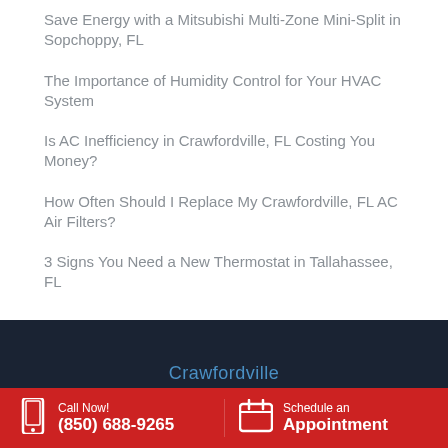Save Energy with a Mitsubishi Multi-Zone Mini-Split in Sopchoppy, FL
The Importance of Humidity Control for Your HVAC System
Is AC Inefficiency in Crawfordville, FL Costing You Money?
How Often Should I Replace My Crawfordville, FL AC Air Filters?
3 Signs You Need a New Thermostat in Tallahassee, FL
Crawfordville
Call Now! (850) 688-9265
Schedule an Appointment